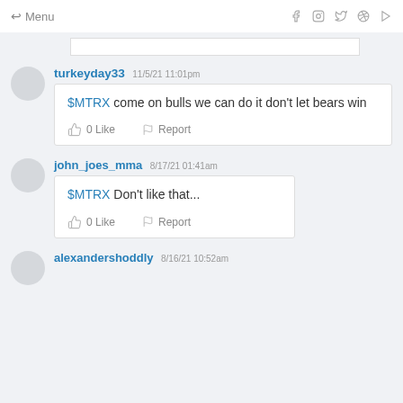← Menu  [social icons: Facebook, Instagram, Twitter, Pinterest, YouTube]
turkeyday33  11/5/21 11:01pm
$MTRX come on bulls we can do it don't let bears win
0 Like   Report
john_joes_mma  8/17/21 01:41am
$MTRX Don't like that...
0 Like   Report
alexandershoddly  8/16/21 10:52am